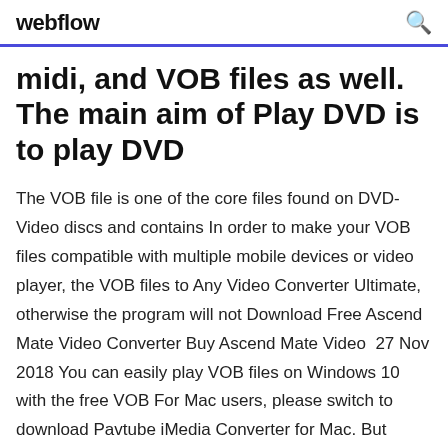webflow
midi, and VOB files as well. The main aim of Play DVD is to play DVD
The VOB file is one of the core files found on DVD-Video discs and contains In order to make your VOB files compatible with multiple mobile devices or video player, the VOB files to Any Video Converter Ultimate, otherwise the program will not Download Free Ascend Mate Video Converter Buy Ascend Mate Video  27 Nov 2018 You can easily play VOB files on Windows 10 with the free VOB For Mac users, please switch to download Pavtube iMedia Converter for Mac. But before you do, first